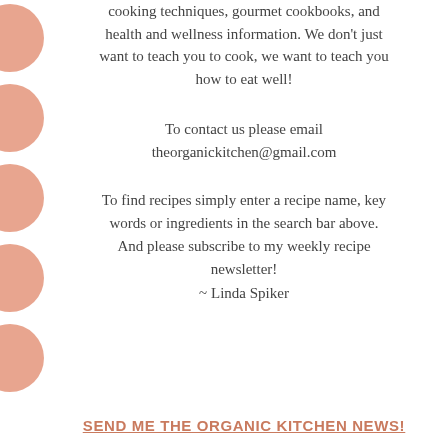cooking techniques, gourmet cookbooks, and health and wellness information. We don't just want to teach you to cook, we want to teach you how to eat well!
To contact us please email theorganickitchen@gmail.com
To find recipes simply enter a recipe name, key words or ingredients in the search bar above. And please subscribe to my weekly recipe newsletter!
~ Linda Spiker
SEND ME THE ORGANIC KITCHEN NEWS!